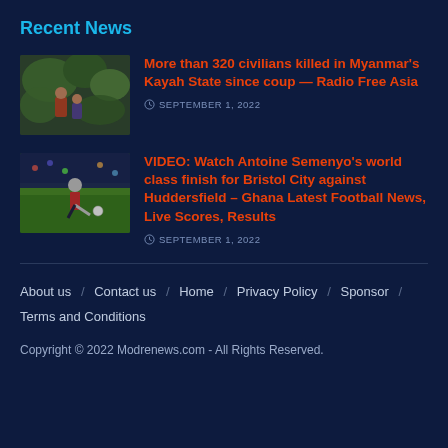Recent News
More than 320 civilians killed in Myanmar's Kayah State since coup — Radio Free Asia
SEPTEMBER 1, 2022
VIDEO: Watch Antoine Semenyo's world class finish for Bristol City against Huddersfield – Ghana Latest Football News, Live Scores, Results
SEPTEMBER 1, 2022
About us / Contact us / Home / Privacy Policy / Sponsor / Terms and Conditions
Copyright © 2022 Modrenews.com - All Rights Reserved.